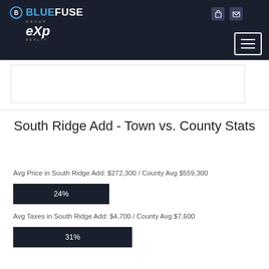BlueFuse Group eXp Realty navigation header
South Ridge Add - Town vs. County Stats
Avg Price in South Ridge Add: $272,300 / County Avg $559,300
[Figure (bar-chart): Avg Price ratio]
Avg Taxes in South Ridge Add: $4,700 / County Avg $7,600
[Figure (bar-chart): Avg Taxes ratio]